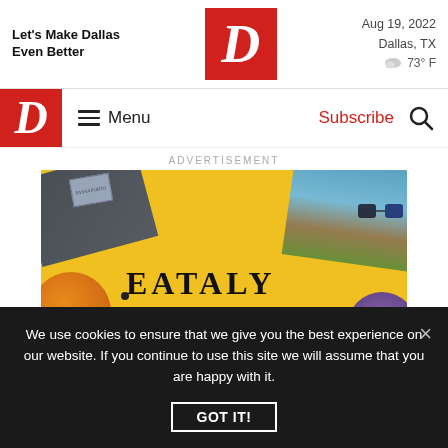Let's Make Dallas Even Better
[Figure (logo): D Magazine red logo with white italic D]
Aug 19, 2022
Dallas, TX
73° F
[Figure (logo): D Magazine red nav logo with white italic D]
Menu
Subscribe
ADVERTISEMENT
[Figure (photo): Eataly advertisement - yellow background with text EATALY is your ticket to Italy...]
We use cookies to ensure that we give you the best experience on our website. If you continue to use this site we will assume that you are happy with it.
GOT IT!